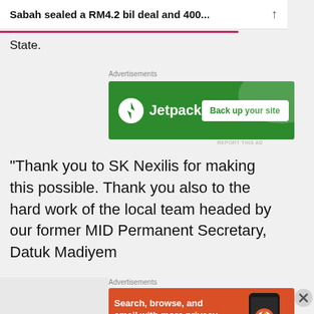Sabah sealed a RM4.2 bil deal and 400...
State.
[Figure (other): Jetpack advertisement banner — green background with Jetpack logo and 'Back up your site' button]
“Thank you to SK Nexilis for making this possible. Thank you also to the hard work of the local team headed by our former MID Permanent Secretary, Datuk Madiyem
[Figure (other): DuckDuckGo advertisement banner — orange background with text 'Search, browse, and email with more privacy. All in One Free App' and DuckDuckGo logo on phone]